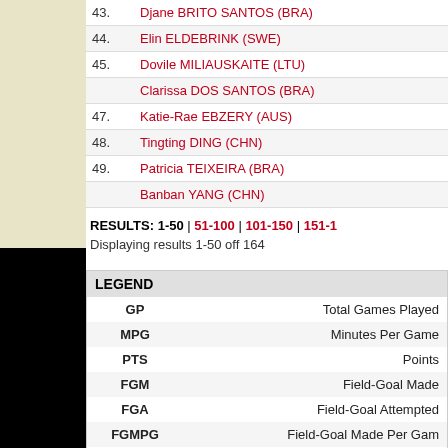| # | Player |
| --- | --- |
| 43. | Djane BRITO SANTOS (BRA) |
| 44. | Elin ELDEBRINK (SWE) |
| 45. | Dovile MILIAUSKAITE (LTU) |
|  | Clarissa DOS SANTOS (BRA) |
| 47. | Katie-Rae EBZERY (AUS) |
| 48. | Tingting DING (CHN) |
| 49. | Patricia TEIXEIRA (BRA) |
|  | Banban YANG (CHN) |
RESULTS: 1-50 | 51-100 | 101-150 | 151-1
Displaying results 1-50 off 164
| LEGEND |  |
| --- | --- |
| GP | Total Games Played |
| MPG | Minutes Per Game |
| PTS | Points |
| FGM | Field-Goal Made |
| FGA | Field-Goal Attempted |
| FGMPG | Field-Goal Made Per Gam |
| FGAPG | Field-Goal Attempted Per G |
| FG% | Field-Goal Percentage |
| 2PM | 2 Points Made |
| 2PA | 2 Points Attempted |
| 2P% | 2 Points Percentage |